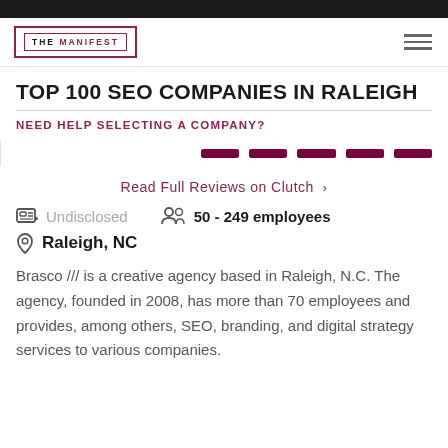THE MANIFEST
TOP 100 SEO COMPANIES IN RALEIGH
NEED HELP SELECTING A COMPANY?
[Figure (other): Five dark red rating bars in a row]
Read Full Reviews on Clutch >
Undisclosed   50 - 249 employees
Raleigh, NC
Brasco /// is a creative agency based in Raleigh, N.C. The agency, founded in 2008, has more than 70 employees and provides, among others, SEO, branding, and digital strategy services to various companies.